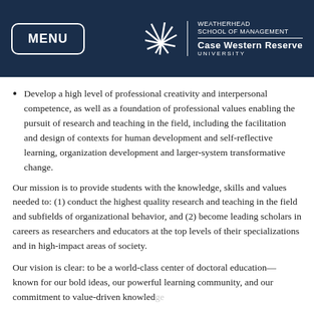MENU | WEATHERHEAD SCHOOL OF MANAGEMENT CASE WESTERN RESERVE UNIVERSITY
Develop a high level of professional creativity and interpersonal competence, as well as a foundation of professional values enabling the pursuit of research and teaching in the field, including the facilitation and design of contexts for human development and self-reflective learning, organization development and larger-system transformative change.
Our mission is to provide students with the knowledge, skills and values needed to: (1) conduct the highest quality research and teaching in the field and subfields of organizational behavior, and (2) become leading scholars in careers as researchers and educators at the top levels of their specializations and in high-impact areas of society.
Our vision is clear: to be a world-class center of doctoral education—known for our bold ideas, our powerful learning community, and our commitment to value-driven knowledge.